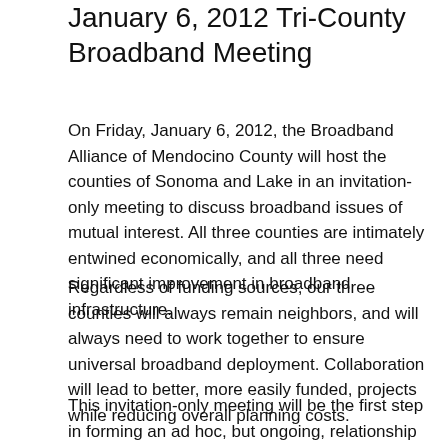January 6, 2012 Tri-County Broadband Meeting
On Friday, January 6, 2012, the Broadband Alliance of Mendocino County will host the counties of Sonoma and Lake in an invitation-only meeting to discuss broadband issues of mutual interest. All three counties are intimately entwined economically, and all three need significant improvement in broadband infrastructure.
Regardless of funding sources, our three counties will always remain neighbors, and will always need to work together to ensure universal broadband deployment. Collaboration will lead to better, more easily funded, projects while reducing overall planning costs.
This invitation-only meeting will be the first step in forming an ad hoc, but ongoing, relationship between the counties to facilitate broadband deployment projects